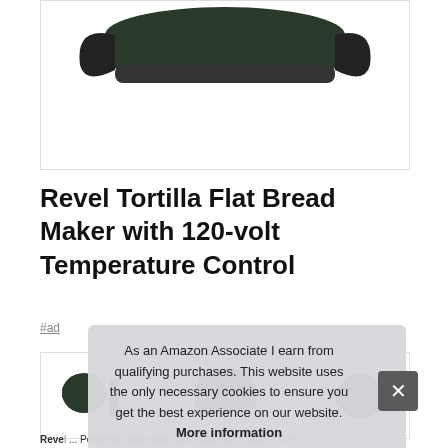[Figure (photo): Partial view of a dark green/black Revel Tortilla Flat Bread Maker appliance on white background]
Revel Tortilla Flat Bread Maker with 120-volt Temperature Control
#ad
[Figure (photo): Three thumbnail images of the Revel Tortilla Flat Bread Maker from different angles]
As an Amazon Associate I earn from qualifying purchases. This website uses the only necessary cookies to ensure you get the best experience on our website. More information
Revel ... Powerful 1000 watts, 120 volts 50Hz. Auto on/on